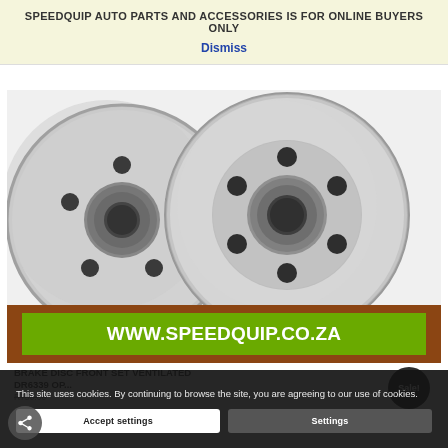SPEEDQUIP AUTO PARTS AND ACCESSORIES IS FOR ONLINE BUYERS ONLY
Dismiss
[Figure (photo): Two ventilated brake discs on white background]
WWW.SPEEDQUIP.CO.ZA
BRAKE DISC FRONT SET VENTILATED DR6339 OP...
R750.00
Sale!
This site uses cookies. By continuing to browse the site, you are agreeing to our use of cookies.
Accept settings
Settings